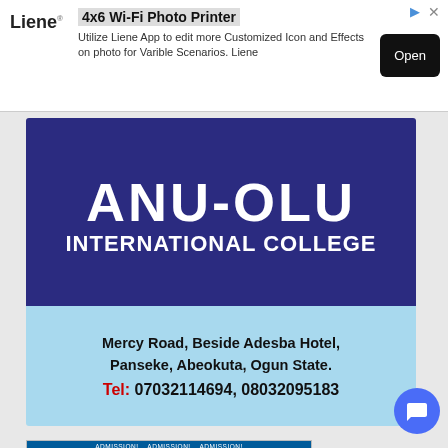[Figure (infographic): Advertisement banner for Liene 4x6 Wi-Fi Photo Printer with Open button]
[Figure (infographic): ANU-OLU International College banner showing name, address in Panseke, Abeokuta, Ogun State, and telephone numbers 07032114694, 08032095183]
[Figure (infographic): ESTG University Cotonou admission advertisement showing logo, courses offered in Communication/Media Studies and Management Sciences, accreditation number, address details]